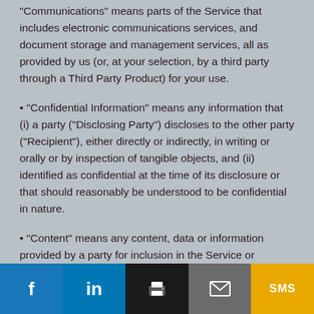"Communications" means parts of the Service that includes electronic communications services, and document storage and management services, all as provided by us (or, at your selection, by a third party through a Third Party Product) for your use.
"Confidential Information" means any information that (i) a party ("Disclosing Party") discloses to the other party ("Recipient"), either directly or indirectly, in writing or orally or by inspection of tangible objects, and (ii) identified as confidential at the time of its disclosure or that should reasonably be understood to be confidential in nature.
"Content" means any content, data or information provided by a party for inclusion in the Service or